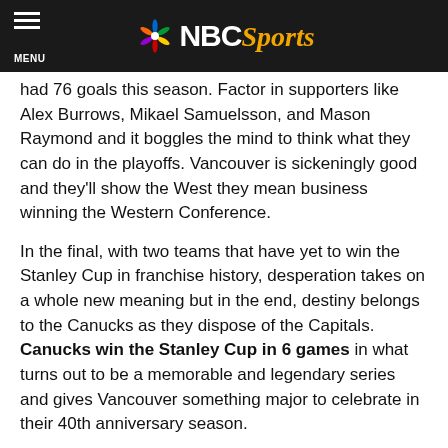NBC Sports
had 76 goals this season. Factor in supporters like Alex Burrows, Mikael Samuelsson, and Mason Raymond and it boggles the mind to think what they can do in the playoffs. Vancouver is sickeningly good and they'll show the West they mean business winning the Western Conference.
In the final, with two teams that have yet to win the Stanley Cup in franchise history, desperation takes on a whole new meaning but in the end, destiny belongs to the Canucks as they dispose of the Capitals. Canucks win the Stanley Cup in 6 games in what turns out to be a memorable and legendary series and gives Vancouver something major to celebrate in their 40th anniversary season.
Who will win the Stanley Cup?